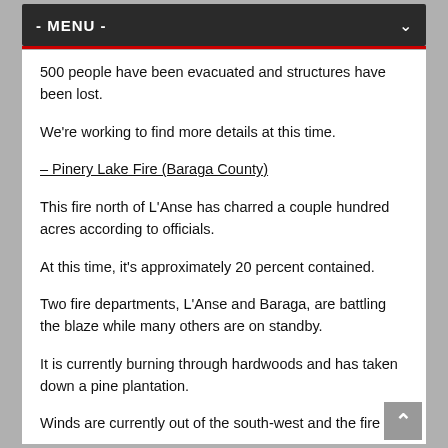- MENU -
500 people have been evacuated and structures have been lost.
We're working to find more details at this time.
– Pinery Lake Fire (Baraga County)
This fire north of L'Anse has charred a couple hundred acres according to officials.
At this time, it's approximately 20 percent contained.
Two fire departments, L'Anse and Baraga, are battling the blaze while many others are on standby.
It is currently burning through hardwoods and has taken down a pine plantation.
Winds are currently out of the south-west and the fire is